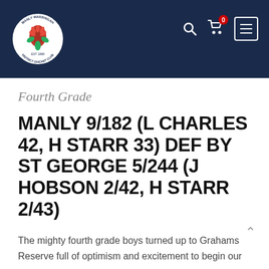[Figure (logo): Manly Warringah District Cricket Club circular logo with red waratah flower on white background, dark navy header bar with search icon, cart icon with badge showing 0, and hamburger menu button]
Fourth Grade
MANLY 9/182 (L CHARLES 42, H STARR 33) DEF BY ST GEORGE 5/244 (J HOBSON 2/42, H STARR 2/43)
The mighty fourth grade boys turned up to Grahams Reserve full of optimism and excitement to begin our